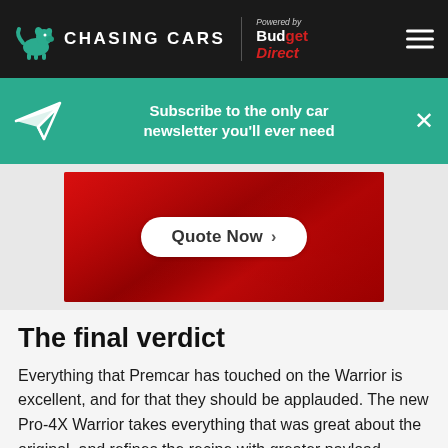[Figure (logo): Chasing Cars website header with green dog logo, site name, Budget Direct sponsor logo, and hamburger menu]
Subscribe to the only car newsletter you'll ever need
[Figure (infographic): Red Budget Direct advertisement banner with 'Quote Now >' button]
The final verdict
Everything that Premcar has touched on the Warrior is excellent, and for that they should be applauded. The new Pro-4X Warrior takes everything that was great about the original, and refines the recipe with greater payload, winch